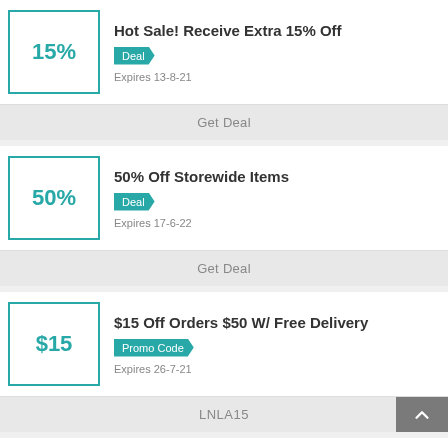Hot Sale! Receive Extra 15% Off
Deal
Expires 13-8-21
Get Deal
50% Off Storewide Items
Deal
Expires 17-6-22
Get Deal
$15 Off Orders $50 W/ Free Delivery
Promo Code
Expires 26-7-21
LNLA15
Freebie With Qualifying Order